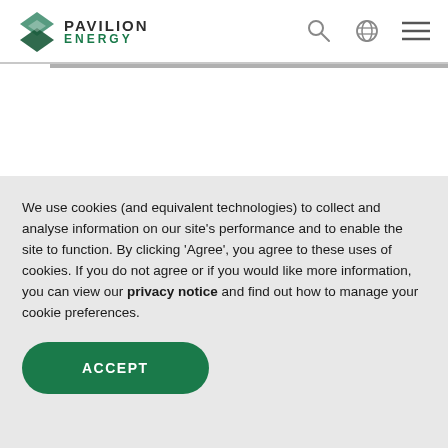PAVILION ENERGY
Our Ambitions
We use cookies (and equivalent technologies) to collect and analyse information on our site's performance and to enable the site to function. By clicking 'Agree', you agree to these uses of cookies. If you do not agree or if you would like more information, you can view our privacy notice and find out how to manage your cookie preferences.
ACCEPT